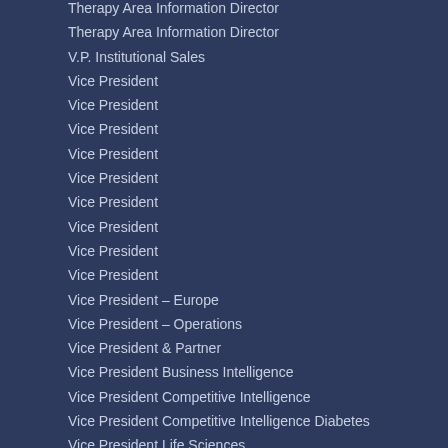Therapy Area Information Director
Therapy Area Information Director
V.P. Institutional Sales
Vice President
Vice President
Vice President
Vice President
Vice President
Vice President
Vice President
Vice President
Vice President
Vice President – Europe
Vice President – Operations
Vice President & Partner
Vice President Business Intelligence
Vice President Competitive Intelligence
Vice President Competitive Intelligence Diabetes
Vice President Life Sciences
Vice President Life Sciences Products
Vice President of Data and Analytics